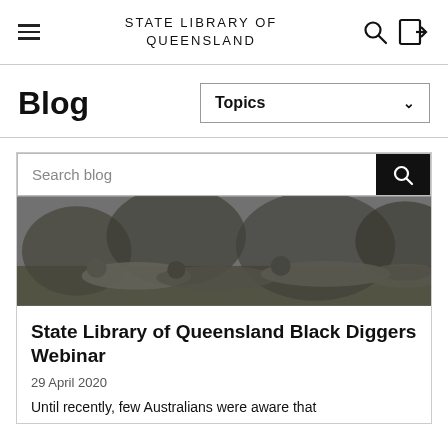STATE LIBRARY OF QUEENSLAND
Blog
Topics
Search blog
[Figure (photo): Black and white historical photograph showing soldiers lying in a field, possibly in combat or training positions, with trees in the background.]
State Library of Queensland Black Diggers Webinar
29 April 2020
Until recently, few Australians were aware that